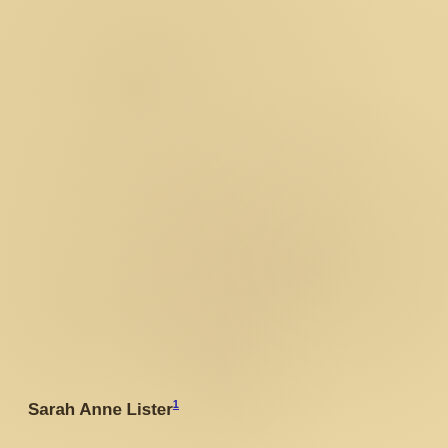[Figure (photo): Aged parchment or yellowed paper texture background, light tan/beige coloring with subtle mottled surface variation.]
Sarah Anne Lister1